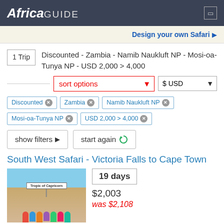AfricaGUIDE
Design your own Safari
1 Trip  Discounted - Zambia - Namib Naukluft NP - Mosi-oa-Tunya NP - USD 2,000 > 4,000
sort options  $ USD
Discounted ×
Zambia ×
Namib Naukluft NP ×
Mosi-oa-Tunya NP ×
USD 2,000 > 4,000 ×
show filters   start again
South West Safari - Victoria Falls to Cape Town
[Figure (photo): Group of tourists standing in front of Tropic of Capricorn sign in a desert landscape]
19 days
$2,003
was $2,108